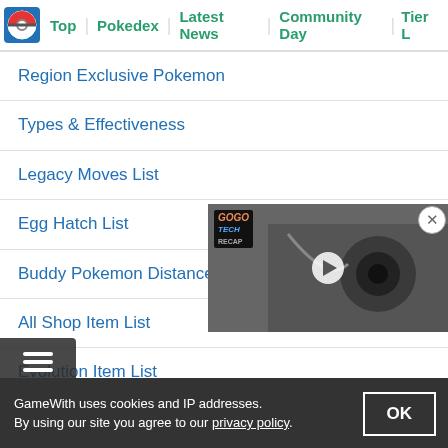Top | Pokedex | Latest News | Community Day | Tier L
Region Exclusive Pokemon
Types & Effectiveness
Legacy Moves List
Egg Hatch List
Buddy Pokemon Distance List
All Shop Item List
Evolution Item List
Medals List & Effects
[Figure (screenshot): Video player overlay showing GOGO TECH RECAP branding with a camera/headphone product image]
GameWith uses cookies and IP addresses. By using our site you agree to our privacy policy.